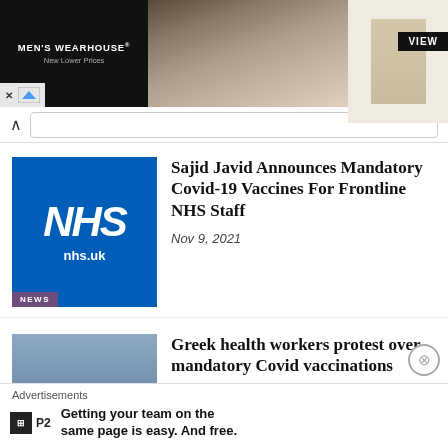[Figure (photo): Men's Wearhouse advertisement banner showing a couple in formal wear and a man in a suit with VIEW button]
Sajid Javid Announces Mandatory Covid-19 Vaccines For Frontline NHS Staff
Nov 9, 2021
Greek health workers protest over mandatory Covid vaccinations
Nov 3, 2021
Advertisements
Getting your team on the same page is easy. And free.